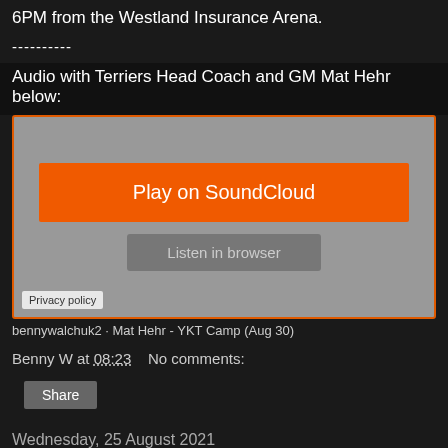6PM from the Westland Insurance Arena.
----------
Audio with Terriers Head Coach and GM Mat Hehr below:
[Figure (other): SoundCloud embedded audio player widget with orange 'Play on SoundCloud' button and grey 'Listen in browser' button on grey background with orange border. Privacy policy link in bottom left.]
bennywalchuk2 · Mat Hehr - YKT Camp (Aug 30)
Benny W at 08:23    No comments:
Share
Wednesday, 25 August 2021